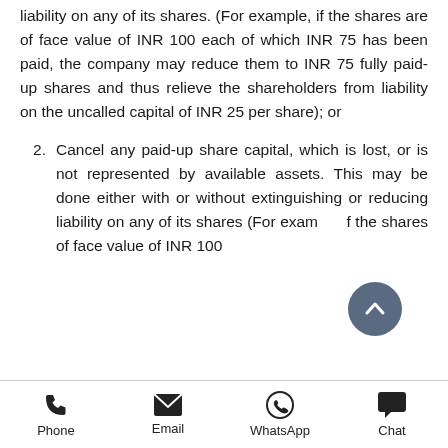liability on any of its shares. (For example, if the shares are of face value of INR 100 each of which INR 75 has been paid, the company may reduce them to INR 75 fully paid-up shares and thus relieve the shareholders from liability on the uncalled capital of INR 25 per share); or
2. Cancel any paid-up share capital, which is lost, or is not represented by available assets. This may be done either with or without extinguishing or reducing liability on any of its shares (For example, if the shares of face value of INR 100
Phone  Email  WhatsApp  Chat